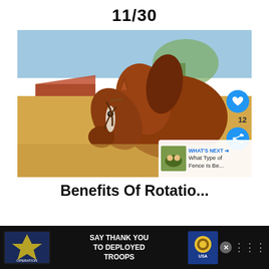11/30
[Figure (photo): Close-up photo of a chestnut horse with a white blaze wearing a leather bridle, photographed outdoors with a blurred barn and trees in the background]
Benefits Of Rotatio...
[Figure (infographic): Advertisement banner: Operation Gratitude logo with text SAY THANK YOU TO DEPLOYED TROOPS, with a patriotic mascot owl and close button]